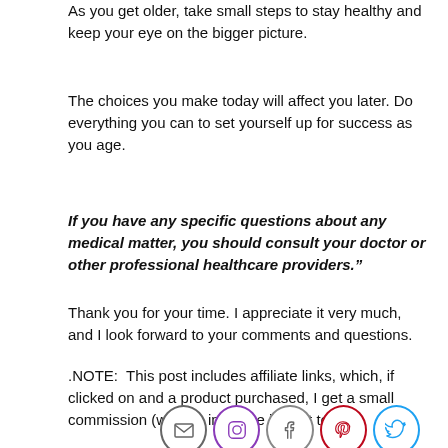As you get older, take small steps to stay healthy and keep your eye on the bigger picture.
The choices you make today will affect you later. Do everything you can to set yourself up for success as you age.
If you have any specific questions about any medical matter, you should consult your doctor or other professional healthcare providers.”
Thank you for your time. I appreciate it very much, and I look forward to your comments and questions.
.NOTE:  This post includes affiliate links, which, if clicked on and a product purchased, I get a small commission (with no increase in cost to you)
[Figure (infographic): Row of five social media icon circles: email (envelope), Instagram, Facebook, Pinterest, Twitter]